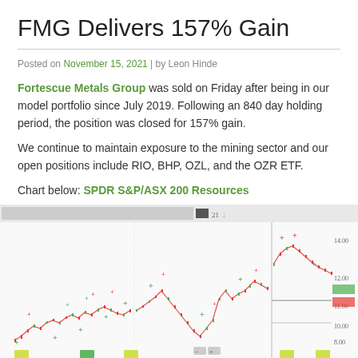FMG Delivers 157% Gain
Posted on November 15, 2021 | by Leon Hinde
Fortescue Metals Group was sold on Friday after being in our model portfolio since July 2019. Following an 840 day holding period, the position was closed for 157% gain.
We continue to maintain exposure to the mining sector and our open positions include RIO, BHP, OZL, and the OZR ETF.
Chart below: SPDR S&P/ASX 200 Resources
[Figure (continuous-plot): Stock chart showing SPDR S&P/ASX 200 Resources price history with candlestick or line chart, showing ups and downs over time with buy/sell signals marked as green and red plus signs. Price range approximately 8.00 to 14.00. Multiple time segments shown.]